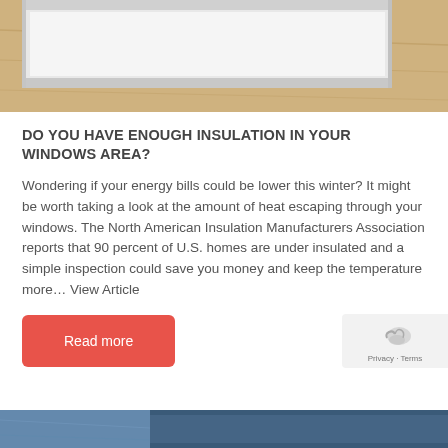[Figure (photo): A white/grey surface or tray object on a light wood background, cropped at top of page]
DO YOU HAVE ENOUGH INSULATION IN YOUR WINDOWS AREA?
Wondering if your energy bills could be lower this winter? It might be worth taking a look at the amount of heat escaping through your windows. The North American Insulation Manufacturers Association reports that 90 percent of U.S. homes are under insulated and a simple inspection could save you money and keep the temperature more… View Article
Read more
[Figure (photo): Blue/dark image strip at the very bottom of the page, partially visible]